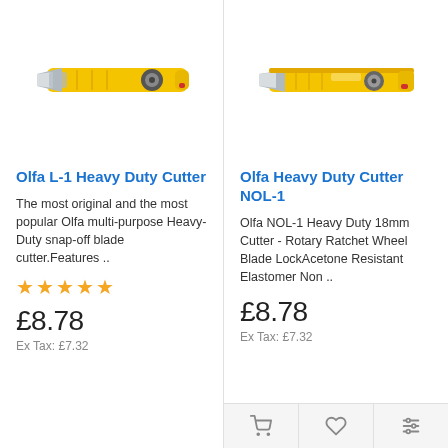[Figure (photo): Yellow Olfa L-1 Heavy Duty snap-off blade cutter knife, side view]
Olfa L-1 Heavy Duty Cutter
The most original and the most popular Olfa multi-purpose Heavy-Duty snap-off blade cutter.Features ..
★★★★★
£8.78
Ex Tax: £7.32
[Figure (photo): Yellow Olfa NOL-1 Heavy Duty 18mm cutter knife, side view]
Olfa Heavy Duty Cutter NOL-1
Olfa NOL-1 Heavy Duty 18mm Cutter - Rotary Ratchet Wheel Blade LockAcetone Resistant Elastomer Non ..
£8.78
Ex Tax: £7.32